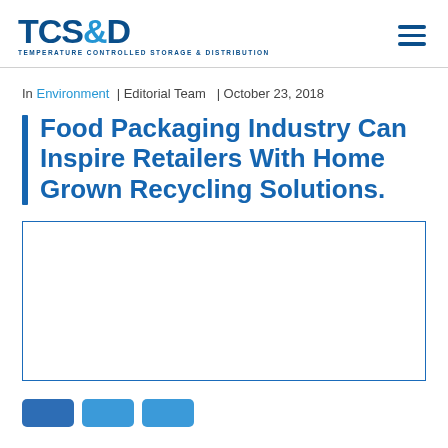TCS&D TEMPERATURE CONTROLLED STORAGE & DISTRIBUTION
In Environment | Editorial Team | October 23, 2018
Food Packaging Industry Can Inspire Retailers With Home Grown Recycling Solutions.
[Figure (photo): Empty white image placeholder with blue border]